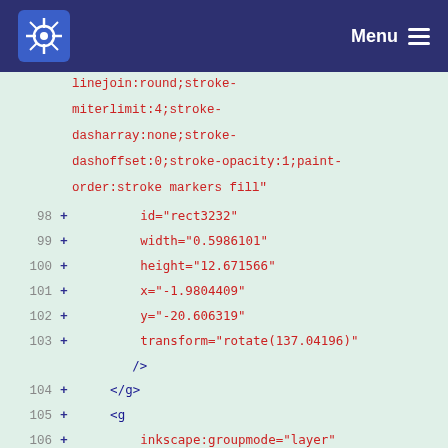Menu
linejoin:round;stroke-miterlimit:4;stroke-dasharray:none;stroke-dashoffset:0;stroke-opacity:1;paint-order:stroke markers fill"
98  +         id="rect3232"
99  +         width="0.5986101"
100  +         height="12.671566"
101  +         x="-1.9804409"
102  +         y="-20.606319"
103  +         transform="rotate(137.04196)"
/>
104  +     </g>
105  +     <g
106  +         inkscape:groupmode="layer"
107  +         id="layer4"
108  +         inkscape:label="Image 2">
109  +     <path
110  +         sodipodi:type="star"
111  +